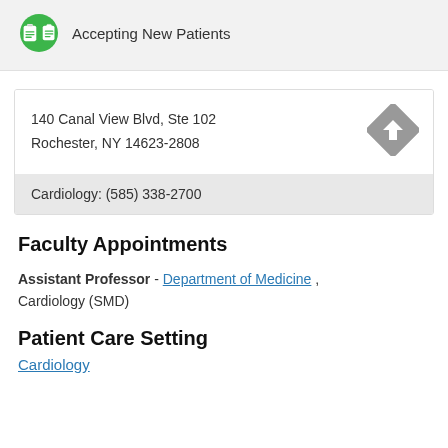Accepting New Patients
140 Canal View Blvd, Ste 102
Rochester, NY 14623-2808
Cardiology: (585) 338-2700
Faculty Appointments
Assistant Professor - Department of Medicine , Cardiology (SMD)
Patient Care Setting
Cardiology